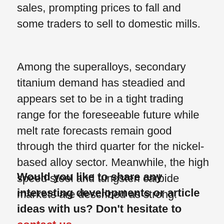sales, prompting prices to fall and some traders to sell to domestic mills.
Among the superalloys, secondary titanium demand has steadied and appears set to be in a tight trading range for the foreseeable future while melt rate forecasts remain good through the third quarter for the nickel-based alloy sector. Meanwhile, the high speed steel and tungsten carbide markets are described as strong.
Would you like to share any interesting developments or article ideas with us? Don't hesitate to contact us.